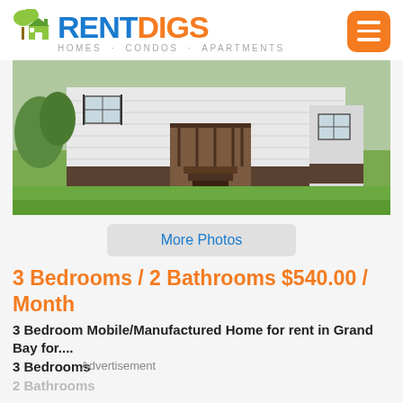RENT DIGS — HOMES · CONDOS · APARTMENTS
[Figure (photo): Exterior photo of a white mobile/manufactured home with dark wood deck and stairs, green lawn in foreground]
More Photos
3 Bedrooms / 2 Bathrooms $540.00 / Month
3 Bedroom Mobile/Manufactured Home for rent in Grand Bay for....
3 Bedrooms
Advertisement
2 Bathrooms
Rent: $540.00
Grand Bay, AL 36541